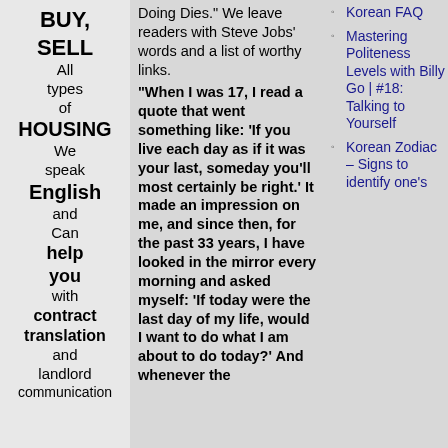BUY, SELL All types of HOUSING We speak English and Can help you with contract translation and landlord communication
Doing Dies.” We leave readers with Steve Jobs’ words and a list of worthy links.
“When I was 17, I read a quote that went something like: ‘If you live each day as if it was your last, someday you’ll most certainly be right.’ It made an impression on me, and since then, for the past 33 years, I have looked in the mirror every morning and asked myself: ‘If today were the last day of my life, would I want to do what I am about to do today?’ And whenever the
Korean FAQ
Mastering Politeness Levels with Billy Go | #18: Talking to Yourself
Korean Zodiac – Signs to identify one’s